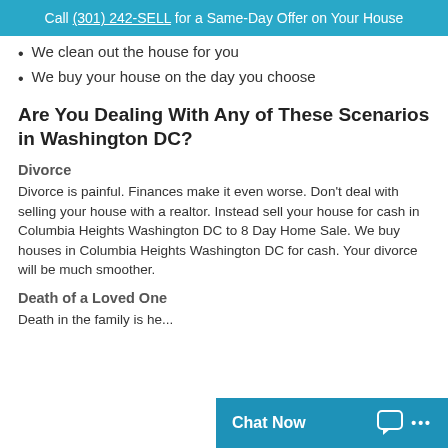Call (301) 242-SELL for a Same-Day Offer on Your House
We clean out the house for you
We buy your house on the day you choose
Are You Dealing With Any of These Scenarios in Washington DC?
Divorce
Divorce is painful. Finances make it even worse. Don't deal with selling your house with a realtor. Instead sell your house for cash in Columbia Heights Washington DC to 8 Day Home Sale. We buy houses in Columbia Heights Washington DC for cash. Your divorce will be much smoother.
Death of a Loved One
Death in the family is he...